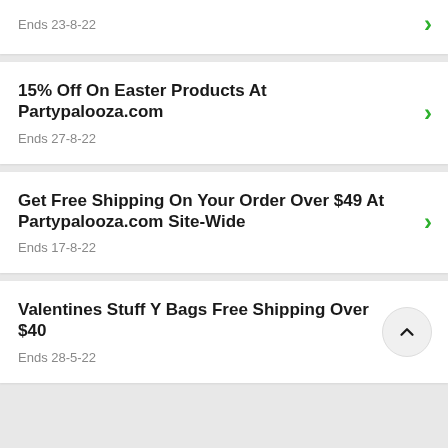Ends 23-8-22
15% Off On Easter Products At Partypalooza.com
Ends 27-8-22
Get Free Shipping On Your Order Over $49 At Partypalooza.com Site-Wide
Ends 17-8-22
Valentines Stuff Y Bags Free Shipping Over $40
Ends 28-5-22